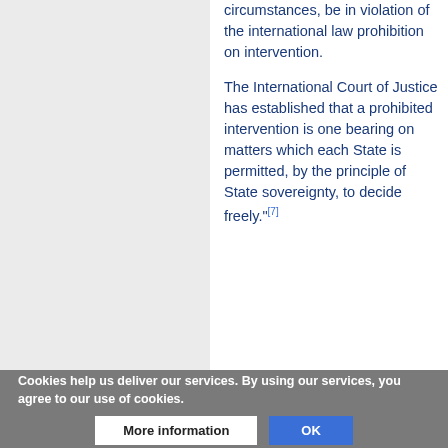circumstances, be in violation of the international law prohibition on intervention.
The International Court of Justice has established that a prohibited intervention is one bearing on matters which each State is permitted, by the principle of State sovereignty, to decide freely."[7]
Cookies help us deliver our services. By using our services, you agree to our use of cookies.
Sovereignty as a general